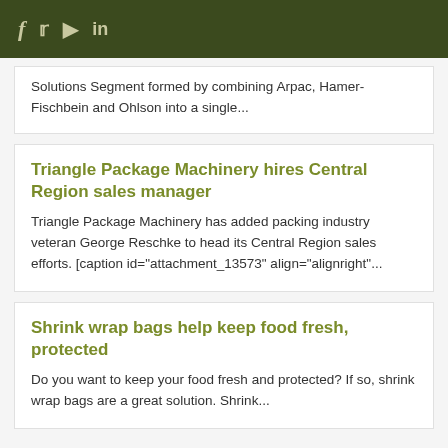f  t  yt  in
Solutions Segment formed by combining Arpac, Hamer-Fischbein and Ohlson into a single...
Triangle Package Machinery hires Central Region sales manager
Triangle Package Machinery has added packing industry veteran George Reschke to head its Central Region sales efforts. [caption id="attachment_13573" align="alignright"...
Shrink wrap bags help keep food fresh, protected
Do you want to keep your food fresh and protected? If so, shrink wrap bags are a great solution. Shrink...